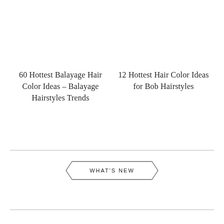60 Hottest Balayage Hair Color Ideas – Balayage Hairstyles Trends
12 Hottest Hair Color Ideas for Bob Hairstyles
WHAT'S NEW